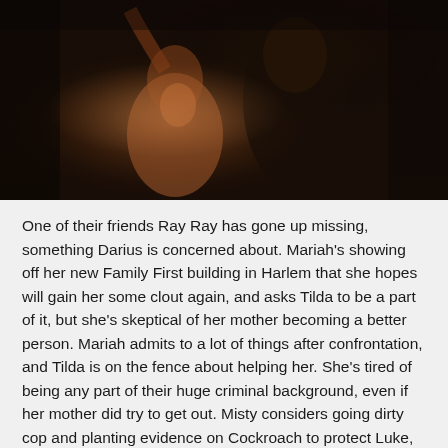[Figure (photo): A dimly lit scene showing a woman with long dark hair laughing and raising her hand, wearing what appears to be a pink/red outfit with jewelry. A tall man in dark clothing stands behind her. The background appears to be a dark brick wall setting.]
One of their friends Ray Ray has gone up missing, something Darius is concerned about. Mariah's showing off her new Family First building in Harlem that she hopes will gain her some clout again, and asks Tilda to be a part of it, but she's skeptical of her mother becoming a better person. Mariah admits to a lot of things after confrontation, and Tilda is on the fence about helping her. She's tired of being any part of their huge criminal background, even if her mother did try to get out. Misty considers going dirty cop and planting evidence on Cockroach to protect Luke,